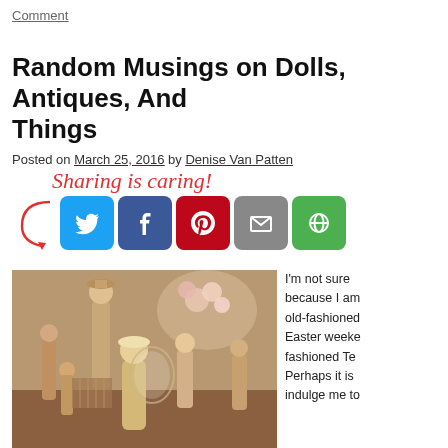Comment
Random Musings on Dolls, Antiques, And Things
Posted on March 25, 2016 by Denise Van Patten
[Figure (infographic): Sharing is caring! social sharing buttons: Twitter (blue), Facebook (dark blue), Pinterest (red), Email (grey), Other (green)]
[Figure (photo): A collection of antique dolls displayed on a table, with floral arrangements in the background.]
I'm not sure because I am old-fashioned Easter weeke fashioned Te Perhaps it is indulge me to